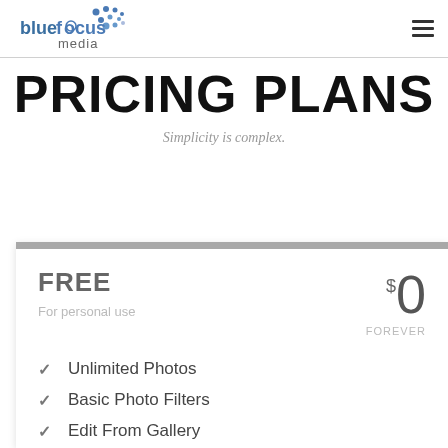[Figure (logo): BlueFocus Media logo with blue dot/circle pattern and text 'bluefocus media']
PRICING PLANS
Simplicity is complex.
FREE
For personal use
$0 FOREVER
Unlimited Photos
Basic Photo Filters
Edit From Gallery
Advanced Photo Filte…